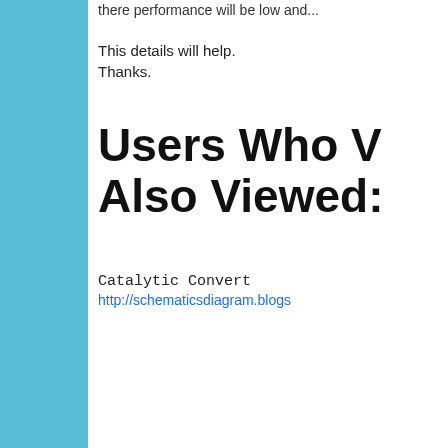there performance will be low and...
This details will help.
Thanks.
Users Who V
Also Viewed:
Catalytic Convert
http://schematicsdiagram.blogs
[Figure (screenshot): Infolinks ad bar with Seamless pizza advertisement showing 'seamless' red badge and 'ORDER NOW' button on dark background]